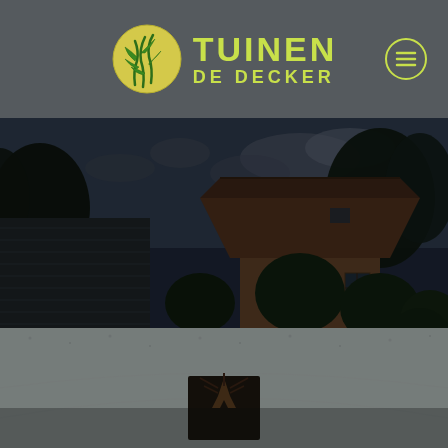[Figure (logo): Tuinen De Decker logo with yellow-green circle containing bamboo/grass illustration, text TUINEN DE DECKER in yellow-green, on dark grey header background with hamburger menu icon]
[Figure (photo): Nighttime garden photo showing a gravel driveway/courtyard in front of a traditional brick farmhouse with red tile roof, surrounded by dark green shrubs and trees. A small tree planted in a square gravel cutout is centered in the foreground. A modern dark wood structure is on the left side. The sky shows some clouds.]